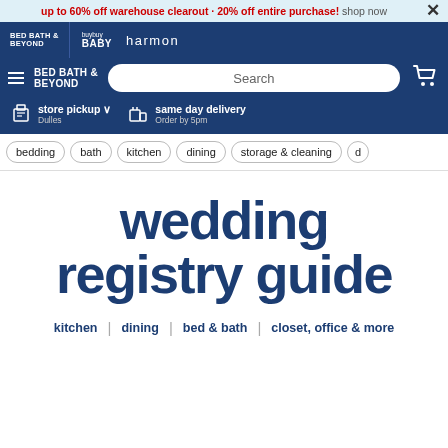up to 60% off warehouse clearout · 20% off entire purchase! shop now
[Figure (screenshot): Bed Bath & Beyond website header navigation showing brand logos: BED BATH & BEYOND, buybuy BABY, harmon]
[Figure (screenshot): Main navigation bar with hamburger menu, BED BATH & BEYOND logo, search bar, and cart icon]
[Figure (screenshot): Store pickup (Dulles) and same day delivery (Order by 5pm) options]
bedding | bath | kitchen | dining | storage & cleaning
wedding registry guide
kitchen | dining | bed & bath | closet, office & more